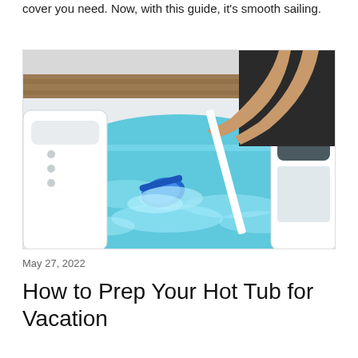cover you need. Now, with this guide, it's smooth sailing.
[Figure (photo): Person using a blue pool/spa vacuum cleaner tool in an outdoor hot tub filled with blue-green water, sitting on a wooden deck. White hot tub shell visible with jets and headrests.]
May 27, 2022
How to Prep Your Hot Tub for Vacation